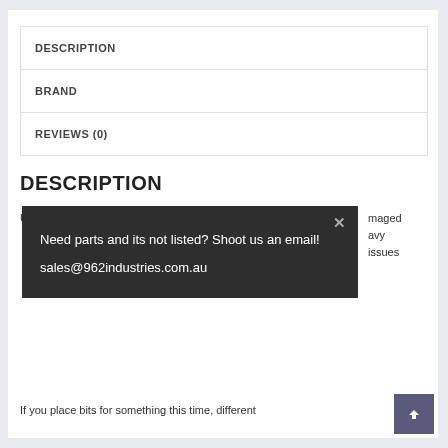DESCRIPTION
BRAND
REVIEWS (0)
DESCRIPTION
URD's Mitsubishi Pajero direct replacement...
Need parts and its not listed? Shoot us an email!
sales@962industries.com.au
maged
avy
issues
If you place bits for something this time, different...